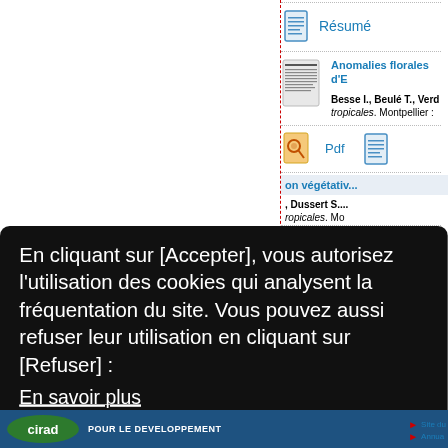[Figure (screenshot): Document listing page from CIRAD website showing academic publications with blue document icons, PDF links, and book entries including 'Résumé', 'Anomalies florales d'E...', and author references. A cookie consent overlay with black background covers the lower portion, containing French text about cookie usage with Refuser and Accepter buttons.]
Résumé
Anomalies florales d'E
Besse I., Beulé T., Verd...
tropicales. Montpellier :
Pdf
on végétativ...
, Dussert S....
ropicales. Mo
ural change...
Pafford M...
En cliquant sur [Accepter], vous autorisez l'utilisation des cookies qui analysent la fréquentation du site. Vous pouvez aussi refuser leur utilisation en cliquant sur [Refuser] :
En savoir plus
Refuser
Accepter
Site du
Annua
POUR LE DEVELOPPEMENT